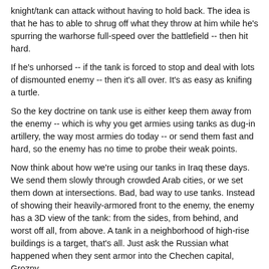knight/tank can attack without having to hold back. The idea is that he has to able to shrug off what they throw at him while he's spurring the warhorse full-speed over the battlefield -- then hit hard.
If he's unhorsed -- if the tank is forced to stop and deal with lots of dismounted enemy -- then it's all over. It's as easy as knifing a turtle.
So the key doctrine on tank use is either keep them away from the enemy -- which is why you get armies using tanks as dug-in artillery, the way most armies do today -- or send them fast and hard, so the enemy has no time to probe their weak points.
Now think about how we're using our tanks in Iraq these days. We send them slowly through crowded Arab cities, or we set them down at intersections. Bad, bad way to use tanks. Instead of showing their heavily-armored front to the enemy, the enemy has a 3D view of the tank: from the sides, from behind, and worst off all, from above. A tank in a neighborhood of high-rise buildings is a target, that's all. Just ask the Russian what happened when they sent armor into the Chechen capital, Grozny.
What we're doing here is running a very expensive war game to find out what the M1's weaknesses are -- back, sides, whatever. These "weaknesses" don't matter if we were using the M1 right, using its fantastic on-the-move targeting system to blast enemy tanks on an open battlefield. If that's the war you're fighting -- the war we fought in GW1 -- then it's totally smart to put the light armor on those places. If you're fighting in Arab cities, like we are now, no tank is any good. A tank has two assets,